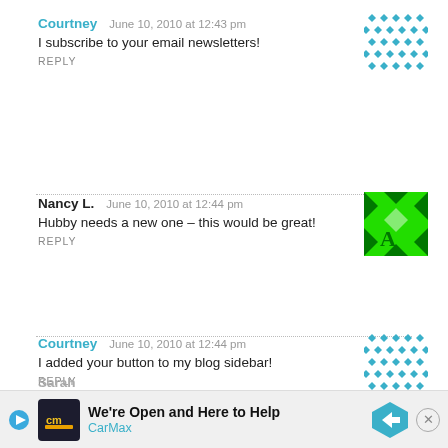Courtney   June 10, 2010 at 12:43 pm
I subscribe to your email newsletters!
REPLY
Nancy L.   June 10, 2010 at 12:44 pm
Hubby needs a new one – this would be great!
REPLY
Courtney   June 10, 2010 at 12:44 pm
I added your button to my blog sidebar!
REPLY
Niki   June 10, 2010 at 12:45 pm
This would be great to win!!!
REPLY
Sarah
We're Open and Here to Help  CarMax